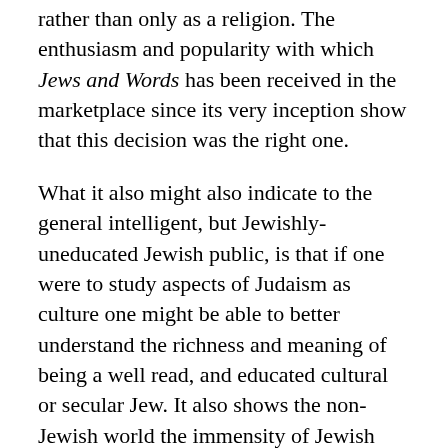rather than only as a religion. The enthusiasm and popularity with which Jews and Words has been received in the marketplace since its very inception show that this decision was the right one.
What it also might also indicate to the general intelligent, but Jewishly-uneducated Jewish public, is that if one were to study aspects of Judaism as culture one might be able to better understand the richness and meaning of being a well read, and educated cultural or secular Jew. It also shows the non-Jewish world the immensity of Jewish cultural achievement.
INTERVIEWER
Based on the vast quantities of material compiled for The Posen Library of Jewish Civilisation, how do